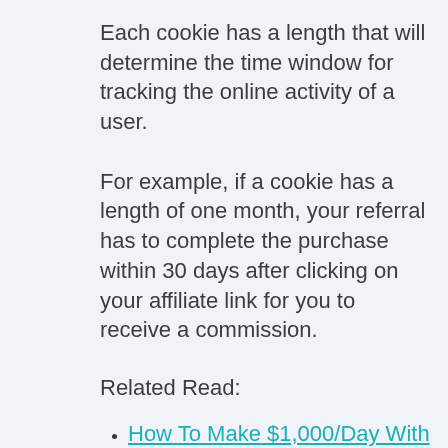Each cookie has a length that will determine the time window for tracking the online activity of a user.
For example, if a cookie has a length of one month, your referral has to complete the purchase within 30 days after clicking on your affiliate link for you to receive a commission.
Related Read:
How To Make $1,000/Day With Affiliate Marketing